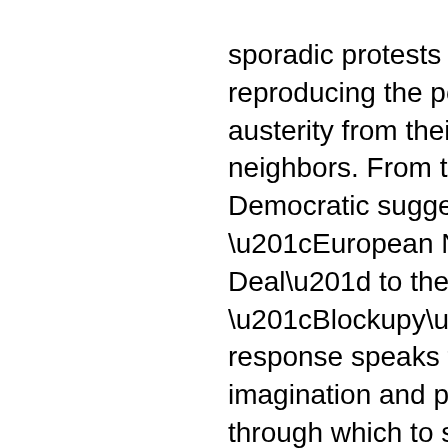sporadic protests seem to aim at reproducing the politics of anti-austerity from their southern neighbors. From the Social Democratic suggestion of a “European New Deal” to the slogan of “Blockupy” the Left response speaks to the lack of imagination and possibilities through which to seriously challenge the course of events. The European Left seems to have lost its inspirational character for world politics, not to speak of any real organizational capacities.
This panel will focus on the meaning and potential